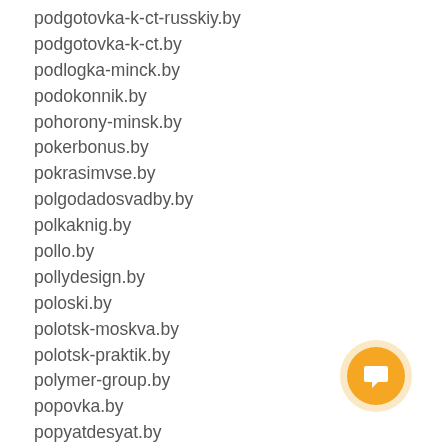podgotovka-k-ct-russkiy.by
podgotovka-k-ct.by
podlogka-minck.by
podokonnik.by
pohorony-minsk.by
pokerbonus.by
pokrasimvse.by
polgodadosvadby.by
polkaknig.by
pollo.by
pollydesign.by
poloski.by
polotsk-moskva.by
polotsk-praktik.by
polymer-group.by
popovka.by
popyatdesyat.by
porshen.by
pos-terminal.by
poseidon-burakva.by
poseti.by
posgrodno.by
[Figure (illustration): Orange circular chat/message button with speech bubble icon]